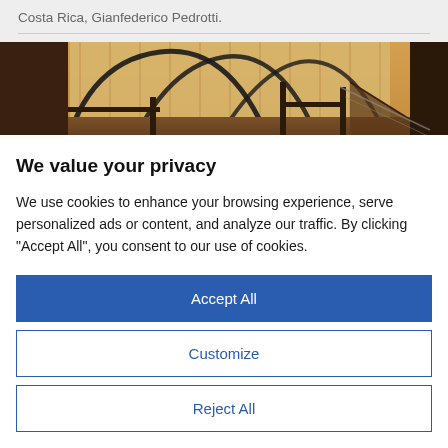Costa Rica, Gianfederico Pedrotti.
[Figure (photo): Interior of a large structure with arched metal framework and a light-colored fabric or metal ceiling, showing scaffolding and industrial elements with warm amber/brown toning.]
We value your privacy
We use cookies to enhance your browsing experience, serve personalized ads or content, and analyze our traffic. By clicking "Accept All", you consent to our use of cookies.
Accept All
Customize
Reject All